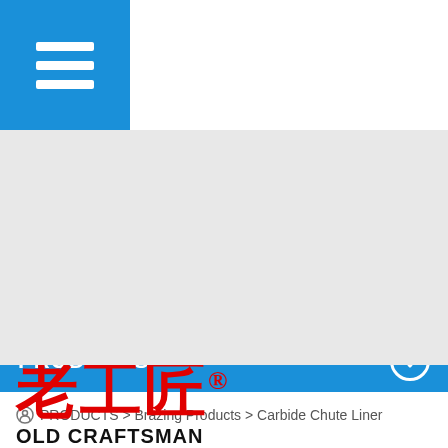[Figure (screenshot): Blue hamburger/menu icon button in top-left corner of navigation bar]
[Figure (other): Gray banner area below navigation, likely a header image placeholder]
PRODUCTS
PRODUCTS > Brazing Products > Carbide Chute Liner
[Figure (logo): Old Craftsman logo with Chinese characters 老工匠 in red with registered trademark symbol and OLD CRAFTSMAN text below in black]